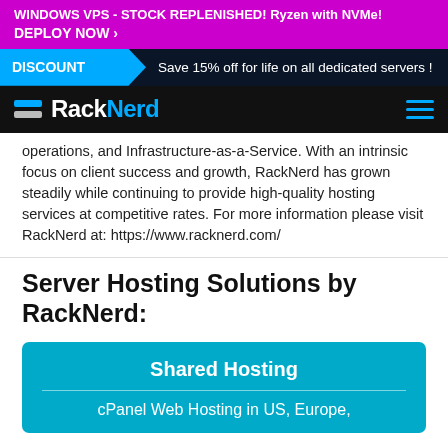WINDOWS VPS - STOCK REPLENISHED! Ryzen with NVMe! DEPLOY NOW ›
DISCOUNT Save 15% off for life on all dedicated servers !
[Figure (logo): RackNerd logo with icon and hamburger menu on black nav bar]
operations, and Infrastructure-as-a-Service. With an intrinsic focus on client success and growth, RackNerd has grown steadily while continuing to provide high-quality hosting services at competitive rates. For more information please visit RackNerd at: https://www.racknerd.com/
Server Hosting Solutions by RackNerd:
[Figure (infographic): Teal card showing Shared Hosting with subtitle cPanel Web Hosting in US, Europe,]